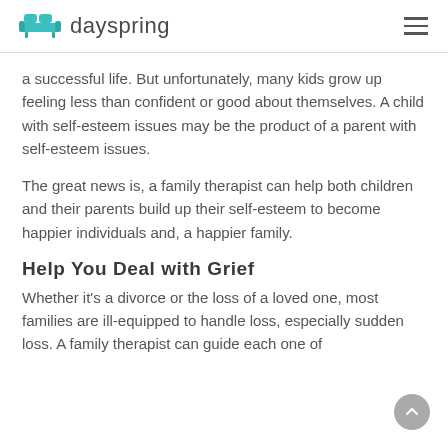dayspring
a successful life. But unfortunately, many kids grow up feeling less than confident or good about themselves. A child with self-esteem issues may be the product of a parent with self-esteem issues.
The great news is, a family therapist can help both children and their parents build up their self-esteem to become happier individuals and, a happier family.
Help You Deal with Grief
Whether it's a divorce or the loss of a loved one, most families are ill-equipped to handle loss, especially sudden loss. A family therapist can guide each one of